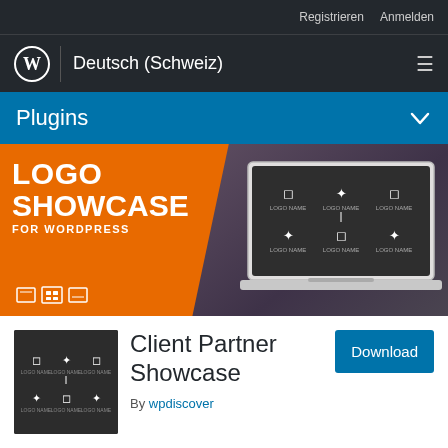Registrieren   Anmelden
[Figure (screenshot): WordPress logo with Deutsch (Schweiz) navigation bar and hamburger menu]
Plugins
[Figure (illustration): Logo Showcase for WordPress plugin banner with orange chevron, laptop mockup showing logo grid]
[Figure (screenshot): Client Partner Showcase plugin thumbnail showing logo grid on dark background]
Client Partner Showcase
By wpdiscover
Download